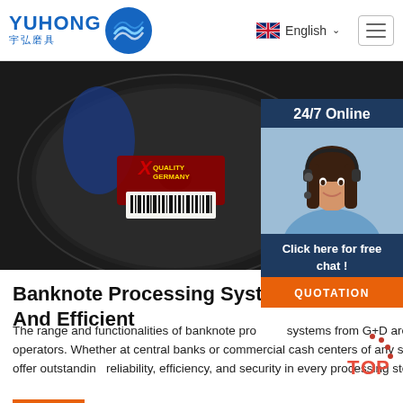YUHONG 宇弘磨具 | English
[Figure (photo): Close-up of a black grinding/cutting disc with X Quality Germany logo and barcode label, dark background]
[Figure (photo): 24/7 Online chat widget showing a female customer service agent wearing a headset, with 'Click here for free chat!' and QUOTATION button]
Banknote Processing Systems: R... And Efficient
The range and functionalities of banknote processing systems from G+D are as diverse and individual as the needs of their operators. Whether at central banks or commercial cash centers of any size, casinos, bank branches or backoffices in retail, we offer outstanding reliability, efficiency, and security in every processing step – from banknote assessment to sorting.